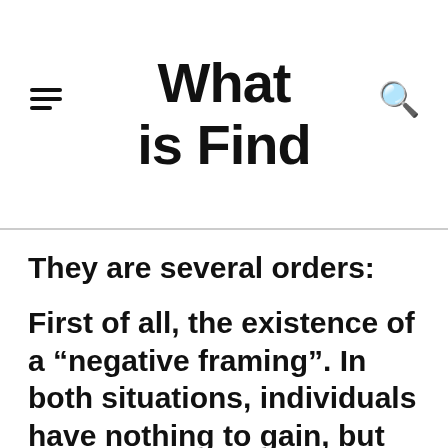What is Find
They are several orders:
First of all, the existence of a “negative framing”. In both situations, individuals have nothing to gain, but to lose: on the one hand, the “normal”